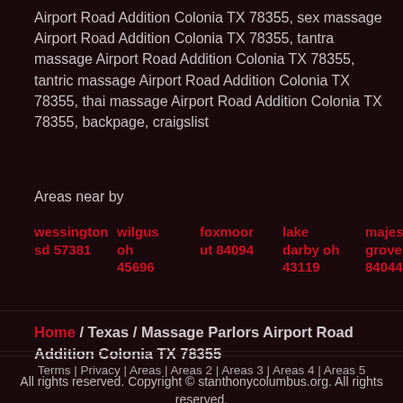Airport Road Addition Colonia TX 78355, sex massage Airport Road Addition Colonia TX 78355, tantra massage Airport Road Addition Colonia TX 78355, tantric massage Airport Road Addition Colonia TX 78355, thai massage Airport Road Addition Colonia TX 78355, backpage, craigslist
Areas near by
wessington sd 57381
wilgus oh 45696
foxmoor ut 84094
lake darby oh 43119
majestic grove ut 84044
Home / Texas / Massage Parlors Airport Road Addition Colonia TX 78355
Terms | Privacy | Areas | Areas 2 | Areas 3 | Areas 4 | Areas 5
All rights reserved. Copyright © stanthonycolumbus.org. All rights reserved.